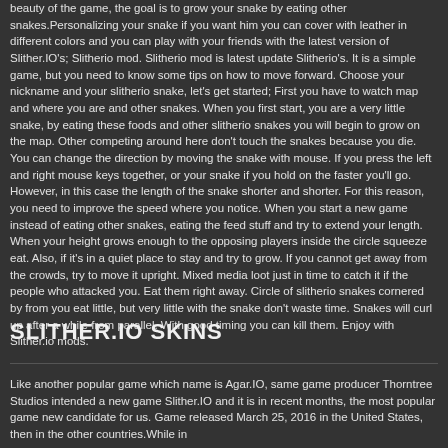beauty of the game, the goal is to grow your snake by eating other snakes.Personalizing your snake if you want him you can cover with leather in different colors and you can play with your friends with the latest version of Slither.IO's; Slitherio mod. Slitherio mod is latest update Slitherio's. It is a simple game, but you need to know some tips on how to move forward. Choose your nickname and your slitherio snake, let's get started; First you have to watch map and where you are and other snakes. When you first start, you are a very little snake, by eating these foods and other slitherio snakes you will begin to grow on the map. Other competing around here don't touch the snakes because you die. You can change the direction by moving the snake with mouse. If you press the left and right mouse keys together, or your snake if you hold on the faster you'll go. However, in this case the length of the snake shorter and shorter. For this reason, you need to improve the speed where you notice. When you start a new game instead of eating other snakes, eating the feed stuff and try to extend your length. When your height grows enough to the opposing players inside the circle squeeze eat. Also, if it's in a quiet place to stay and try to grow. If you cannot get away from the crowds, try to move it upright. Mixed media loot just in time to catch it if the people who attacked you. Eat them right away. Circle of slitherio snakes cornered by from you eat little, but very little with the snake don't waste time. Snakes will curl up after a while from parallel. With good timing you can kill them. Enjoy with Slither.io mods.
SLITHER.IO SKINS
Like another popular game which name is Agar.IO, same game producer Thorntree Studios intended a new game Slither.IO and it is in recent months, the most popular game new candidate for us. Game released March 25, 2016 in the United States, then in the other countries.While in